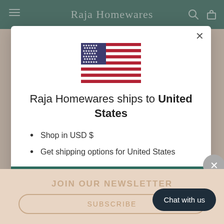Raja Homewares
[Figure (screenshot): Modal dialog popup showing a US flag, shipping destination message, bullet points, and a shop now button over a Raja Homewares website background]
Raja Homewares ships to United States
Shop in USD $
Get shipping options for United States
Shop now
JOIN OUR NEWSLETTER
SUBSCRIBE
Chat with us